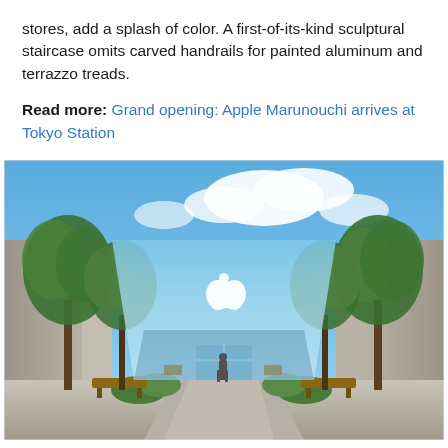stores, add a splash of color. A first-of-its-kind sculptural staircase omits carved handrails for painted aluminum and terrazzo treads.
Read more: Grand opening: Apple Marunouchi arrives at Tokyo Station
[Figure (photo): Exterior photograph of an Apple Store with large glass facade reflecting blue sky and clouds. The store entrance is flanked by tall trees on both sides, with outdoor seating areas visible. The Apple logo is visible on the glass facade. Pathway leads up to the entrance.]